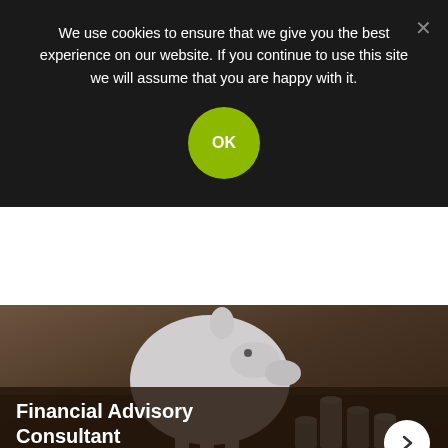We use cookies to ensure that we give you the best experience on our website. If you continue to use this site we will assume that you are happy with it.
[Figure (screenshot): Cookie consent banner with OK button on dark background, overlaid on a financial advisory advertisement showing a piggy bank and stacked coins with text 'Financial Advisory Consultant' and 'Yahoo! Search']
Final thoughts
Anxiety doesn't have to rule your life. You are not alone, and the universe is supporting you. Just a few simple